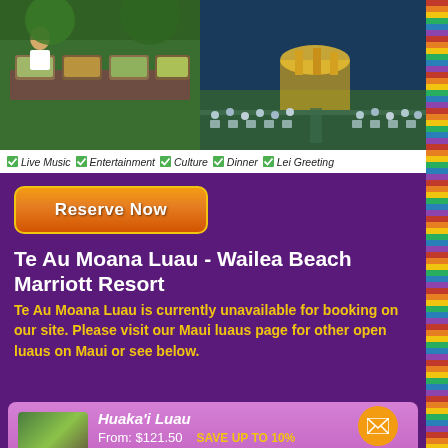[Figure (photo): Two photos side by side: left shows a food buffet with chafing dishes; right shows an outdoor luau event with audience seating at dusk]
Live Music  Entertainment  Culture  Dinner  Lei Greeting
Reserve Now
Te Au Moana Luau - Wailea Beach Marriott Resort
Te Au Moana Luau is currently unavailable for booking on our site. Please visit our Maui luaus page for other open luaus on Maui or see below.
Huaka'i Luau
From: $121.50
SAVE UP TO 10%
Come visit Maui's
Duration: 3 hours